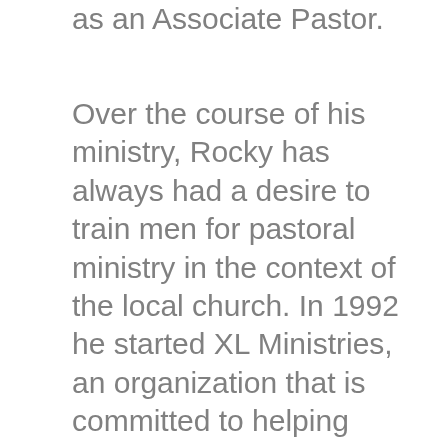as an Associate Pastor.
Over the course of his ministry, Rocky has always had a desire to train men for pastoral ministry in the context of the local church. In 1992 he started XL Ministries, an organization that is committed to helping churches establish intensive internships for pastoral training. In 2020 he left his position at Countryside Bible Church to become the Executive Director of XL Ministries and now works full time assisting churches in training men for ministry.
He is co-author of The Youth Ministry Training Manual, a textbook for training youth pastors, and has also written multiple other resources for use in various local church ministries. He is currently working on a book to encourage